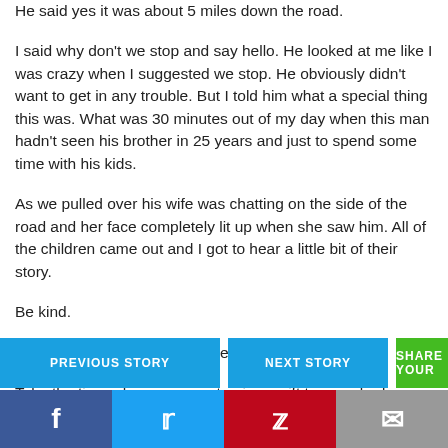He said yes it was about 5 miles down the road.
I said why don't we stop and say hello. He looked at me like I was crazy when I suggested we stop. He obviously didn't want to get in any trouble. But I told him what a special thing this was. What was 30 minutes out of my day when this man hadn't seen his brother in 25 years and just to spend some time with his kids.
As we pulled over his wife was chatting on the side of the road and her face completely lit up when she saw him. All of the children came out and I got to hear a little bit of their story.
Be kind.
Slow down and listen to people stories.
Take the time where you can to give a gift to somebody.
PREVIOUS STORY   NEXT STORY   SHARE YOUR